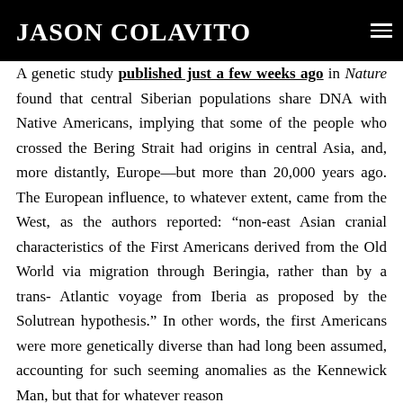JASON COLAVITO
A genetic study published just a few weeks ago in Nature found that central Siberian populations share DNA with Native Americans, implying that some of the people who crossed the Bering Strait had origins in central Asia, and, more distantly, Europe—but more than 20,000 years ago. The European influence, to whatever extent, came from the West, as the authors reported: “non-east Asian cranial characteristics of the First Americans derived from the Old World via migration through Beringia, rather than by a trans-Atlantic voyage from Iberia as proposed by the Solutrean hypothesis.” In other words, the first Americans were more genetically diverse than had long been assumed, accounting for such seeming anomalies as the Kennewick Man, but that for whatever reason